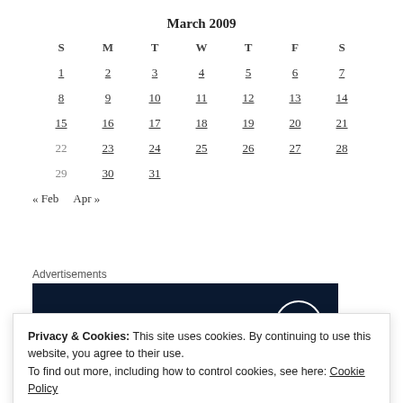March 2009
| S | M | T | W | T | F | S |
| --- | --- | --- | --- | --- | --- | --- |
| 1 | 2 | 3 | 4 | 5 | 6 | 7 |
| 8 | 9 | 10 | 11 | 12 | 13 | 14 |
| 15 | 16 | 17 | 18 | 19 | 20 | 21 |
| 22 | 23 | 24 | 25 | 26 | 27 | 28 |
| 29 | 30 | 31 |  |  |  |  |
« Feb   Apr »
Advertisements
[Figure (logo): Dark navy blue advertisement banner with WordPress logo (white circle with W) on the right side]
Privacy & Cookies: This site uses cookies. By continuing to use this website, you agree to their use.
To find out more, including how to control cookies, see here: Cookie Policy
Close and accept